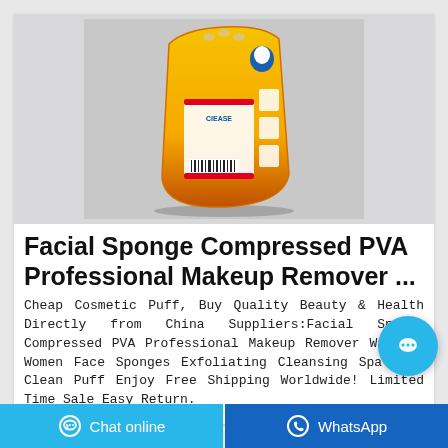[Figure (photo): Orange and yellow packaged product bag (cleaning/cosmetic product) on grey background, with label on front and barcode on back]
Facial Sponge Compressed PVA Professional Makeup Remover ...
Cheap Cosmetic Puff, Buy Quality Beauty & Health Directly from China Suppliers:Facial Sponge Compressed PVA Professional Makeup Remover Washing Women Face Sponges Exfoliating Cleansing Spa Pads Clean Puff Enjoy Free Shipping Worldwide! Limited Time Sale Easy Return.
Chat online
WhatsApp